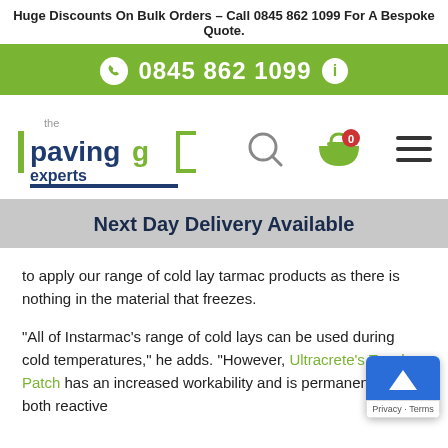Huge Discounts On Bulk Orders – Call 0845 862 1099 For A Bespoke Quote.
[Figure (infographic): Green bar with phone icon, phone number 0845 862 1099, and info icon]
[Figure (logo): The Paving Experts logo with search icon, shopping basket with 0 items, and hamburger menu]
Next Day Delivery Available
to apply our range of cold lay tarmac products as there is nothing in the material that freezes.
“All of Instarmac’s range of cold lays can be used during cold temperatures,” he adds. “However, Ultracrete’s Tough Patch has an increased workability and is permanent for both reactive